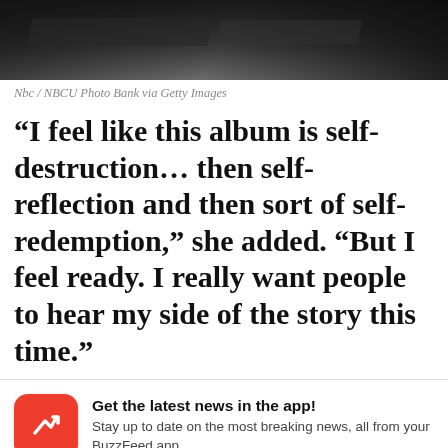[Figure (photo): Dark grayscale photo strip at top of page, showing what appears to be a dark surface or stage lighting scene]
Nbc / NBCU Photo Bank via Getty Images
“I feel like this album is self-destruction… then self-reflection and then sort of self-redemption,” she added. “But I feel ready. I really want people to hear my side of the story this time.”
Get the latest news in the app! Stay up to date on the most breaking news, all from your BuzzFeed app.
Maybe later
Get the app